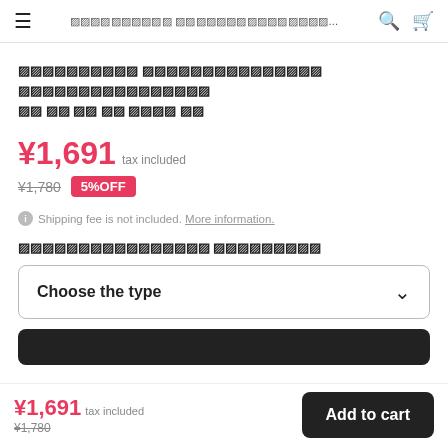≡  [product title navigation] ...  🔍  🛒
[Japanese product name - garbled text]
¥1,691 tax included
¥1,780  5%OFF
ⓘ Shipping fee is not included. More information.
[Japanese variant label text]
Choose the type ∨
¥1,691 tax included ¥1,780  Add to cart